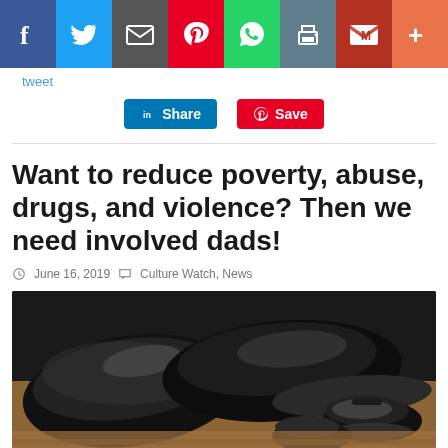[Figure (screenshot): Social media sharing bar with icons for Facebook, Twitter, Email, Pinterest, WhatsApp, Print, Gmail, and More]
tweet
[Figure (screenshot): LinkedIn Share button and Pinterest Save button]
Want to reduce poverty, abuse, drugs, and violence? Then we need involved dads!
June 16, 2019  Culture Watch, News
[Figure (photo): Large black men's dress shoes next to small children's shoes on a wooden surface]